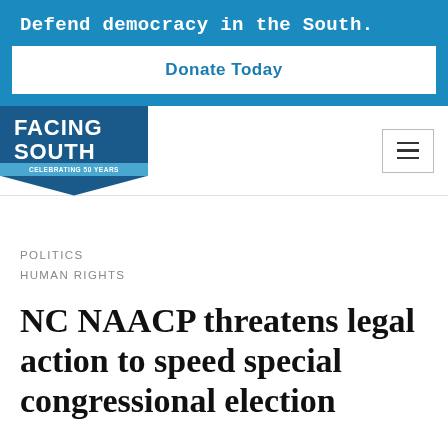Defend democracy in the South.
Donate Today
[Figure (logo): Facing South logo - A Voice for a Changing South, Celebrating 50 Years]
POLITICS
HUMAN RIGHTS
NC NAACP threatens legal action to speed special congressional election